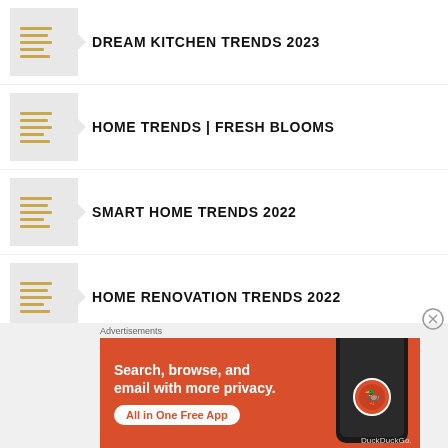DREAM KITCHEN TRENDS 2023
HOME TRENDS | FRESH BLOOMS
SMART HOME TRENDS 2022
HOME RENOVATION TRENDS 2022
SPRING DESIGN TRENDS | REFRESH
Advertisements
[Figure (screenshot): DuckDuckGo advertisement banner: 'Search, browse, and email with more privacy. All in One Free App' with phone mockup and DuckDuckGo logo]